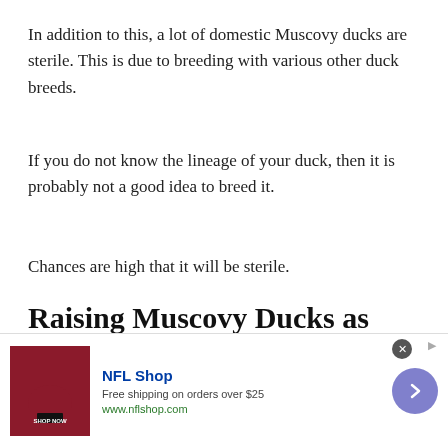In addition to this, a lot of domestic Muscovy ducks are sterile. This is due to breeding with various other duck breeds.
If you do not know the lineage of your duck, then it is probably not a good idea to breed it.
Chances are high that it will be sterile.
Raising Muscovy Ducks as Pets
Muscovy duck can fly, so the biggest tip I can give you if you are planning on raising the domestic
[Figure (other): NFL Shop advertisement banner with red jersey image, shop now button, NFL Shop title in blue, free shipping offer text, www.nflshop.com URL, and a purple arrow button.]